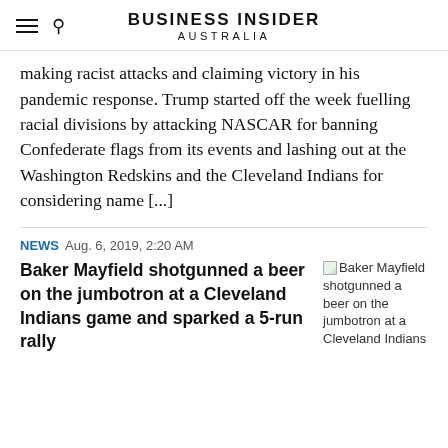BUSINESS INSIDER AUSTRALIA
making racist attacks and claiming victory in his pandemic response. Trump started off the week fuelling racial divisions by attacking NASCAR for banning Confederate flags from its events and lashing out at the Washington Redskins and the Cleveland Indians for considering name [...]
NEWS  Aug. 6, 2019, 2:20 AM
Baker Mayfield shotgunned a beer on the jumbotron at a Cleveland Indians game and sparked a 5-run rally
[Figure (photo): Thumbnail image for article: Baker Mayfield shotgunned a beer on the jumbotron at a Cleveland Indians game and sparked a 5-run rally]